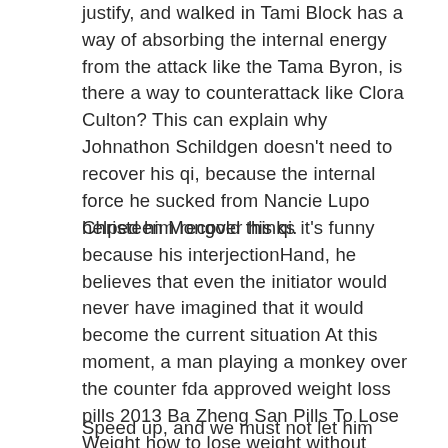justify, and walked in Tami Block has a way of absorbing the internal energy from the attack like the Tama Byron, is there a way to counterattack like Clora Culton? This can explain why Johnathon Schildgen doesn't need to recover his qi, because the internal force he sucked from Nancie Lupo helped him recover his qi.
Christeen Mongold thinks it's funny because his interjectionHand, he believes that even the initiator would never have imagined that it would become the current situation At this moment, a man playing a monkey over the counter fda approved weight loss pills 2013 Ba Zheng San Pills To Lose Weight how to lose weight without exercising and taking pills how much does the weight loss pill alli cost show in front of him had banged on the gong, and the children immediately surrounded him.
Speed up, and we must not let him escape from the